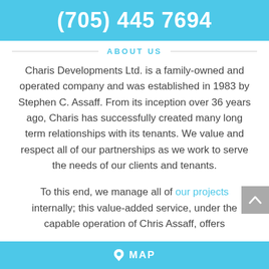(705) 445 7694
ABOUT US
Charis Developments Ltd. is a family-owned and operated company and was established in 1983 by Stephen C. Assaff. From its inception over 36 years ago, Charis has successfully created many long term relationships with its tenants. We value and respect all of our partnerships as we work to serve the needs of our clients and tenants.
To this end, we manage all of our projects internally; this value-added service, under the capable operation of Chris Assaff, offers
MAP